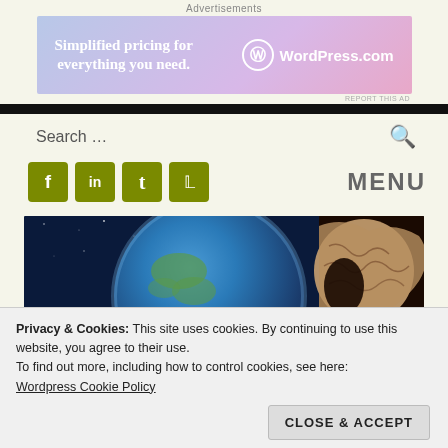Advertisements
[Figure (illustration): WordPress.com advertisement banner: 'Simplified pricing for everything you need.' with WordPress logo on gradient purple/pink background]
REPORT THIS AD
Search …
[Figure (illustration): Social media icon buttons for Facebook, LinkedIn, Tumblr, and Twitter in olive/yellow-green squares, and MENU label on the right]
[Figure (photo): Space image showing Earth globe with a brain-like figure on the right side against a starry background]
Privacy & Cookies: This site uses cookies. By continuing to use this website, you agree to their use.
To find out more, including how to control cookies, see here:
Wordpress Cookie Policy
CLOSE & ACCEPT